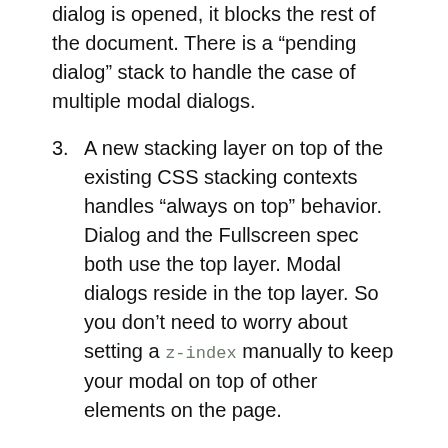dialog is opened, it blocks the rest of the document. There is a “pending dialog” stack to handle the case of multiple modal dialogs.
3. A new stacking layer on top of the existing CSS stacking contexts handles “always on top” behavior. Dialog and the Fullscreen spec both use the top layer. Modal dialogs reside in the top layer. So you don’t need to worry about setting a z-index manually to keep your modal on top of other elements on the page.
Pretty awesome, right? The dialog element is not enabled by default, but getting this in the…